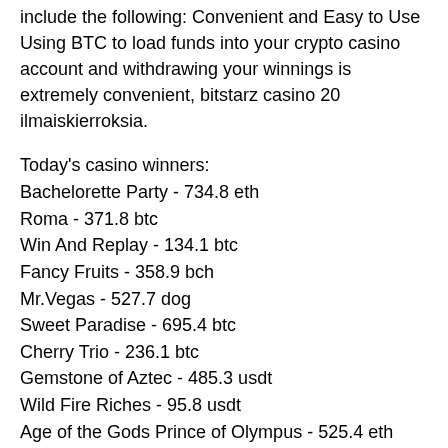include the following: Convenient and Easy to Use Using BTC to load funds into your crypto casino account and withdrawing your winnings is extremely convenient, bitstarz casino 20 ilmaiskierroksia.
Today's casino winners:
Bachelorette Party - 734.8 eth
Roma - 371.8 btc
Win And Replay - 134.1 btc
Fancy Fruits - 358.9 bch
Mr.Vegas - 527.7 dog
Sweet Paradise - 695.4 btc
Cherry Trio - 236.1 btc
Gemstone of Aztec - 485.3 usdt
Wild Fire Riches - 95.8 usdt
Age of the Gods Prince of Olympus - 525.4 eth
Fort Brave - 20.3 ltc
Gushers Gold - 651.4 ltc
La Romantica - 405.5 usdt